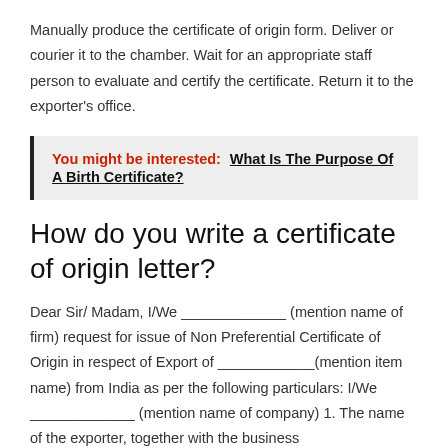Manually produce the certificate of origin form. Deliver or courier it to the chamber. Wait for an appropriate staff person to evaluate and certify the certificate. Return it to the exporter's office.
You might be interested:  What Is The Purpose Of A Birth Certificate?
How do you write a certificate of origin letter?
Dear Sir/ Madam, I/We _____________ (mention name of firm) request for issue of Non Preferential Certificate of Origin in respect of Export of ____________(mention item name) from India as per the following particulars: I/We _____________ (mention name of company) 1. The name of the exporter, together with the business